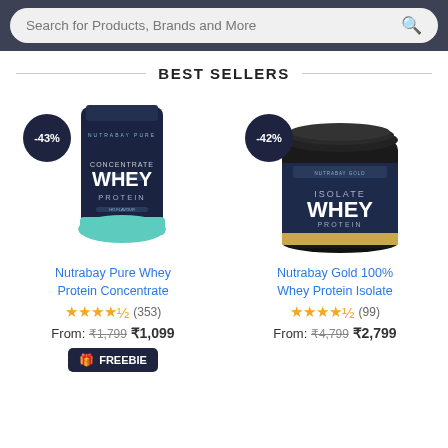Search for Products, Brands and More
BEST SELLERS
[Figure (photo): Nutrabay Pure Concentrate Whey Protein bag with -43% discount badge]
Nutrabay Pure Whey Protein Concentrate
★★★★★ (353)
From: ₹1,799 ₹1,099
FREEBIE
[Figure (photo): Nutrabay Gold Isolate Whey Protein tub with -42% discount badge]
Nutrabay Gold 100% Whey Protein Isolate
★★★★★ (99)
From: ₹4,799 ₹2,799